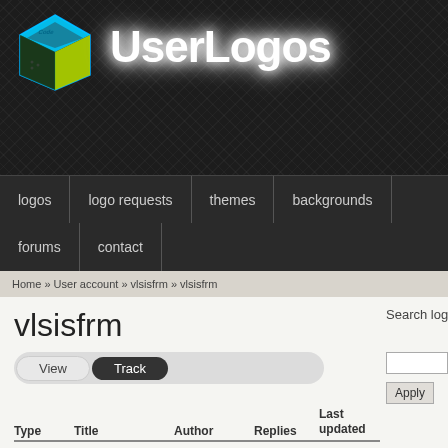[Figure (logo): UserLogos website header with cube logo icon and 'UserLogos' text in white with glow effect on dark patterned background]
logos | logo requests | themes | backgrounds | forums | contact
Home » User account » vlsisfrm » vlsisfrm
vlsisfrm
View  Track
| Type | Title | Author | Replies | Last updated |
| --- | --- | --- | --- | --- |
Search logos
Apply